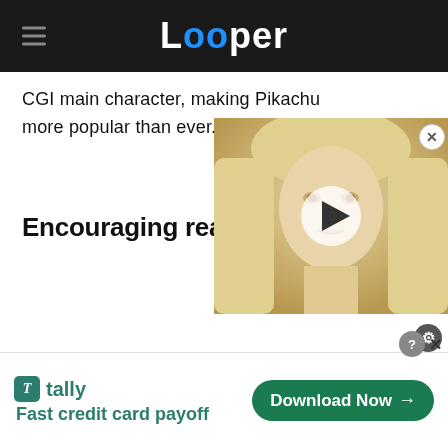Looper
CGI main character, making Pikachu more popular than ever.
Encouraging reactions
[Figure (screenshot): Embedded video thumbnail showing a blonde woman's face with a play button overlay]
[Figure (screenshot): Advertisement banner for Tally app - Fast credit card payoff with Download Now button]